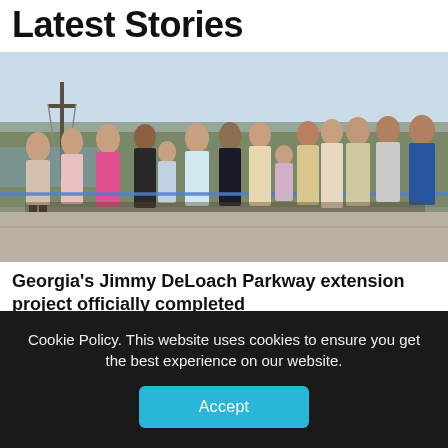Latest Stories
[Figure (photo): Group of officials and dignitaries standing along a blue ribbon at a ribbon-cutting ceremony outdoors on a concrete surface, with trees and utility poles in the background.]
Georgia's Jimmy DeLoach Parkway extension project officially completed
Officials across the Georgia supply chain gathered Thursday for a ribbon cutting ceremony marking the
Cookie Policy. This website uses cookies to ensure you get the best experience on our website.